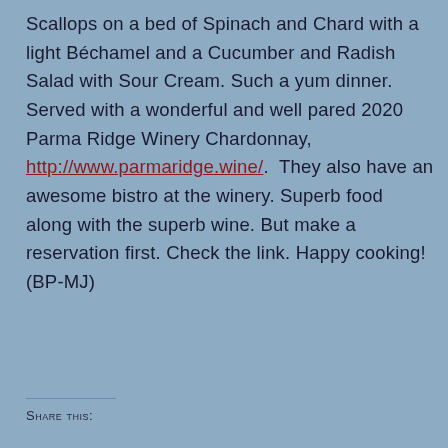Scallops on a bed of Spinach and Chard with a light Béchamel and a Cucumber and Radish Salad with Sour Cream. Such a yum dinner. Served with a wonderful and well pared 2020 Parma Ridge Winery Chardonnay, http://www.parmaridge.wine/. They also have an awesome bistro at the winery. Superb food along with the superb wine. But make a reservation first. Check the link. Happy cooking! (BP-MJ)
Share this: